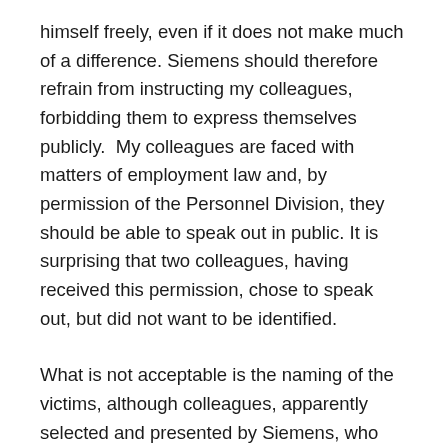himself freely, even if it does not make much of a difference. Siemens should therefore refrain from instructing my colleagues, forbidding them to express themselves publicly.  My colleagues are faced with matters of employment law and, by permission of the Personnel Division, they should be able to speak out in public. It is surprising that two colleagues, having received this permission, chose to speak out, but did not want to be identified.
What is not acceptable is the naming of the victims, although colleagues, apparently selected and presented by Siemens, who are guaranteed witness protection by Stern. If the presiding Judge Froelich wishes to provide Siemens witness protection, it is also his duty to give it to the complainant. In that case Siemens employees who have shared my experience, would testify to the probable